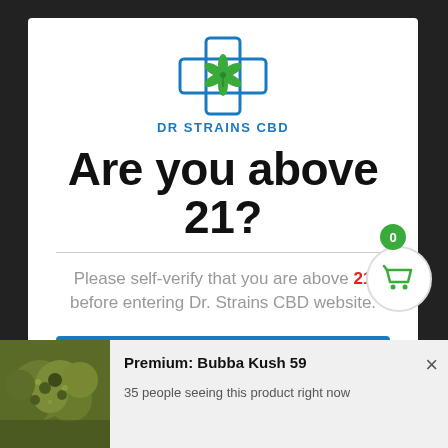[Figure (logo): Dr Strains CBD logo with blue cross medical symbol containing a green cannabis leaf]
Are you above 21?
Please self-verify that you are above 21 before entering Dr. Strains CBD website.
YES
NO
0
Premium: Bubba Kush 59
35 people seeing this product right now
[Figure (photo): Close-up photo of green cannabis buds]